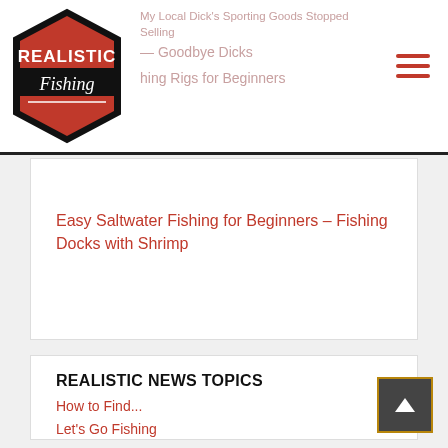[Figure (logo): Realistic Fishing logo — hexagonal badge with black border, red and black background, white text 'REALISTIC' and cursive 'Fishing']
My Local Dick's Sporting Goods Stopped Selling Fishing – Goodbye Dicks | Fishing Rigs for Beginners
Easy Saltwater Fishing for Beginners – Fishing Docks with Shrimp
REALISTIC NEWS TOPICS
How to Find...
Let's Go Fishing
Realistic YouTube News
Reel Experience
Thanks Mr. Fish